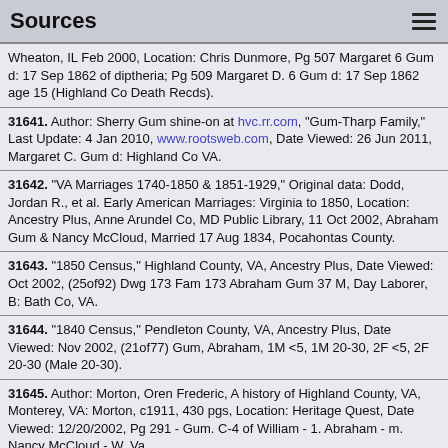Sources
Wheaton, IL Feb 2000, Location: Chris Dunmore, Pg 507 Margaret 6 Gum d: 17 Sep 1862 of diptheria; Pg 509 Margaret D. 6 Gum d: 17 Sep 1862 age 15 (Highland Co Death Recds).
31641. Author: Sherry Gum shine-on at hvc.rr.com, "Gum-Tharp Family," Last Update: 4 Jan 2010, www.rootsweb.com, Date Viewed: 26 Jun 2011, Margaret C. Gum d: Highland Co VA.
31642. "VA Marriages 1740-1850 & 1851-1929," Original data: Dodd, Jordan R., et al. Early American Marriages: Virginia to 1850, Location: Ancestry Plus, Anne Arundel Co, MD Public Library, 11 Oct 2002, Abraham Gum & Nancy McCloud, Married 17 Aug 1834, Pocahontas County.
31643. "1850 Census," Highland County, VA, Ancestry Plus, Date Viewed: Oct 2002, (25of92) Dwg 173 Fam 173 Abraham Gum 37 M, Day Laborer, B: Bath Co, VA.
31644. "1840 Census," Pendleton County, VA, Ancestry Plus, Date Viewed: Nov 2002, (21of77) Gum, Abraham, 1M <5, 1M 20-30, 2F <5, 2F 20-30 (Male 20-30).
31645. Author: Morton, Oren Frederic, A history of Highland County, VA, Monterey, VA: Morton, c1911, 430 pgs, Location: Heritage Quest, Date Viewed: 12/20/2002, Pg 291 - Gum. C-4 of William - 1. Abraham - m. Nancy McCloud - W. Va.
31646. "VA Highland Descendants," http://www.rootsweb.com/~vahighla/gene.htm#top, 14 Jan 2000, 4 Abraham Gum + Nancy McCloud.
31647. Author: Gary Barr, http://freepages.genealogy.rootsweb.com/~gbarr/search.htm, 19 Sep 2003,